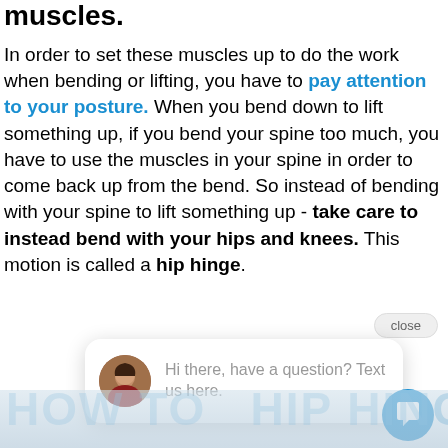muscles.
In order to set these muscles up to do the work when bending or lifting, you have to pay attention to your posture. When you bend down to lift something up, if you bend your spine too much, you have to use the muscles in your spine in order to come back up from the bend. So instead of bending with your spine to lift something up - take care to instead bend with your hips and knees. This motion is called a hip hinge.
[Figure (screenshot): Chat popup bubble with avatar photo of a woman and text 'Hi there, have a question? Text us here.' with a close button and blue chat icon button]
[Figure (photo): Partial view of people doing hip hinge exercise with watermark text 'HOW TO HIP HINGE']